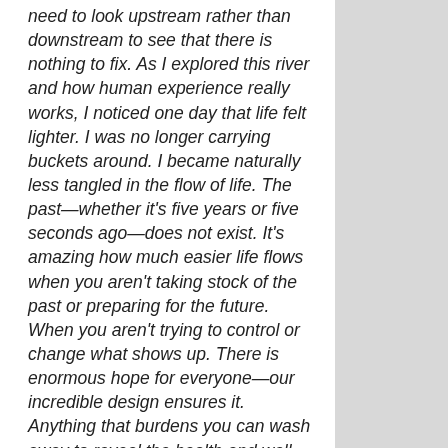need to look upstream rather than downstream to see that there is nothing to fix. As I explored this river and how human experience really works, I noticed one day that life felt lighter. I was no longer carrying buckets around. I became naturally less tangled in the flow of life. The past—whether it's five years or five seconds ago—does not exist. It's amazing how much easier life flows when you aren't taking stock of the past or preparing for the future. When you aren't trying to control or change what shows up. There is enormous hope for everyone—our incredible design ensures it. Anything that burdens you can wash away to reveal the health and well-being that is within you right now"